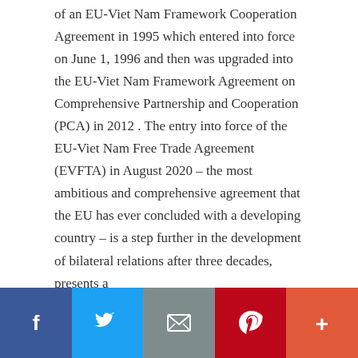of an EU-Viet Nam Framework Cooperation Agreement in 1995 which entered into force on June 1, 1996 and then was upgraded into the EU-Viet Nam Framework Agreement on Comprehensive Partnership and Cooperation (PCA) in 2012 . The entry into force of the EU-Viet Nam Free Trade Agreement (EVFTA) in August 2020 – the most ambitious and comprehensive agreement that the EU has ever concluded with a developing country – is a step further in the development of bilateral relations after three decades, presents a … [Read more...]